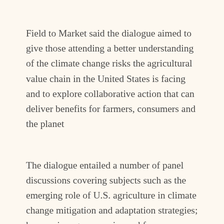Field to Market said the dialogue aimed to give those attending a better understanding of the climate change risks the agricultural value chain in the United States is facing and to explore collaborative action that can deliver benefits for farmers, consumers and the planet
The dialogue entailed a number of panel discussions covering subjects such as the emerging role of U.S. agriculture in climate change mitigation and adaptation strategies; how major ag companies and farmers are evaluating future financial impacts of a hotter, drier planet; the next generation of market-based approaches for greenhouse gas (GHG) mitigation in agriculture; and how farmers and